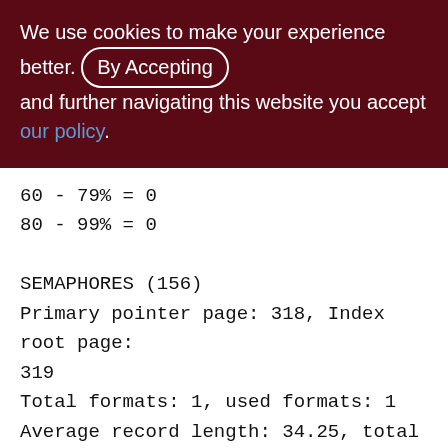We use cookies to make your experience better. By Accepting and further navigating this website you accept our policy.
60 - 79% = 0
80 - 99% = 0

SEMAPHORES (156)
Primary pointer page: 318, Index root page: 319
Total formats: 1, used formats: 1
Average record length: 34.25, total records: 4
Average version length: 0.00, total versions: 0, max versions: 0
Average fragment length: 0.00, total